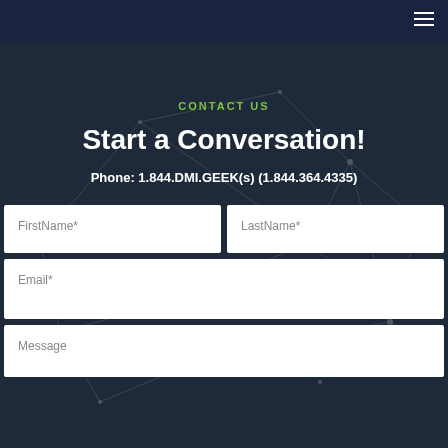Navigation bar with hamburger menu
CONTACT US
Start a Conversation!
Phone: 1.844.DMI.GEEK(s) (1.844.364.4335)
[Figure (other): Contact form with fields: FirstName*, LastName*, Email*, Message]